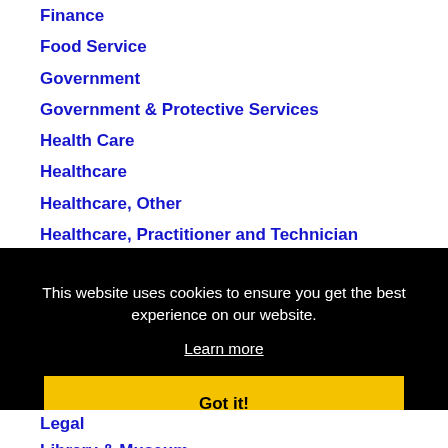Finance
Food Service
Government
Government & Protective Services
Health Care
Healthcare
Healthcare, Other
Healthcare, Practitioner and Technician
Hospitality & Retail
Hospitality & Tourism
Human Resources
This website uses cookies to ensure you get the best experience on our website.
Learn more
Got it!
Legal
Library & Museum